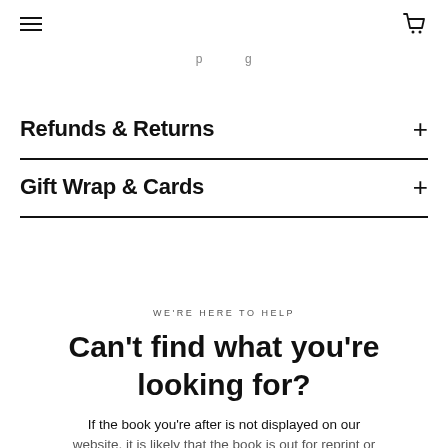[hamburger menu] [shopping cart]
p g
Refunds & Returns
Gift Wrap & Cards
WE'RE HERE TO HELP
Can't find what you're looking for?
If the book you're after is not displayed on our website, it is likely that the book is out for reprint or